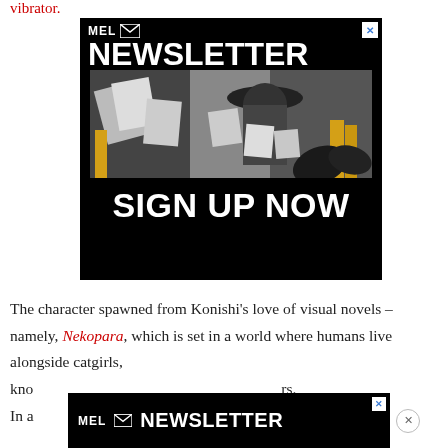vibrator.
[Figure (advertisement): MEL Newsletter advertisement with black background. Top shows MEL logo with envelope icon and 'NEWSLETTER' in large white bold text. Middle shows a black and white photo collage of a person in a cowboy hat surrounded by papers and yellow items. Bottom shows 'SIGN UP NOW' in large white bold text.]
The character spawned from Konishi's love of visual novels – namely, Nekopara, which is set in a world where humans live alongside catgirls, kno...rs. In a...
[Figure (advertisement): MEL Newsletter bottom banner advertisement. Black background with MEL envelope logo and 'MEL NEWSLETTER' text in white bold letters.]